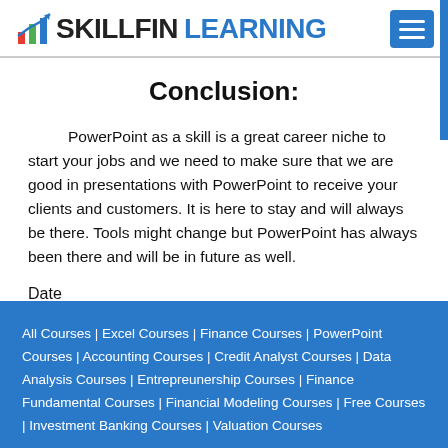SKILLFIN LEARNING
Conclusion:
PowerPoint as a skill is a great career niche to start your jobs and we need to make sure that we are good in presentations with PowerPoint to receive your clients and customers. It is here to stay and will always be there. Tools might change but PowerPoint has always been there and will be in future as well.
Date
2021-09-04
All Courses | Excel Courses | Finance Courses | PowerPoint Courses | Accounting Courses | Credit Analyst Courses | Data Analysis Courses | Entrepreunership Courses | Finance Fundamental Courses | Financial Modeling Courses | Free Courses | Investment Banking Courses | Valuation Courses